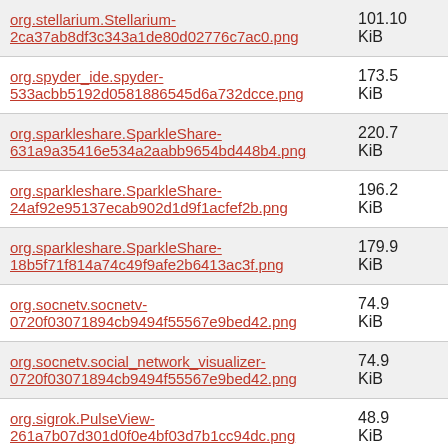| File | Size |
| --- | --- |
| org.stellarium.Stellarium-2ca37ab8df3c343a1de80d02776c7ac0.png | 173.5 KiB |
| org.spyder_ide.spyder-533acbb5192d0581886545d6a732dcce.png | 173.5 KiB |
| org.sparkleshare.SparkleShare-631a9a35416e534a2aabb9654bd448b4.png | 220.7 KiB |
| org.sparkleshare.SparkleShare-24af92e95137ecab902d1d9f1acfef2b.png | 196.2 KiB |
| org.sparkleshare.SparkleShare-18b5f71f814a74c49f9afe2b6413ac3f.png | 179.9 KiB |
| org.socnetv.socnetv-0720f03071894cb9494f55567e9bed42.png | 74.9 KiB |
| org.socnetv.social_network_visualizer-0720f03071894cb9494f55567e9bed42.png | 74.9 KiB |
| org.sigrok.PulseView-261a7b07d301d0f0e4bf03d7b1cc94dc.png | 48.9 KiB |